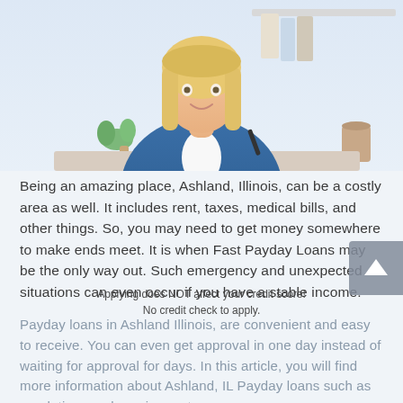[Figure (photo): Smiling blonde woman in denim shirt sitting at a desk, holding a pen, with shelves and a plant in the background. Light blue/white background.]
Being an amazing place, Ashland, Illinois, can be a costly area as well. It includes rent, taxes, medical bills, and other things. So, you may need to get money somewhere to make ends meet. It is when Fast Payday Loans may be the only way out. Such emergency and unexpected situations can even occur if you have a stable income.
Payday loans in Ashland Illinois, are convenient and easy to receive. You can even get approval in one day instead of waiting for approval for days. In this article, you will find more information about Ashland, IL Payday loans such as regulations and requirements.
[Figure (other): Green Apply Now button with text 'Applying does NOT affect your credit score! No credit check to apply.' below it.]